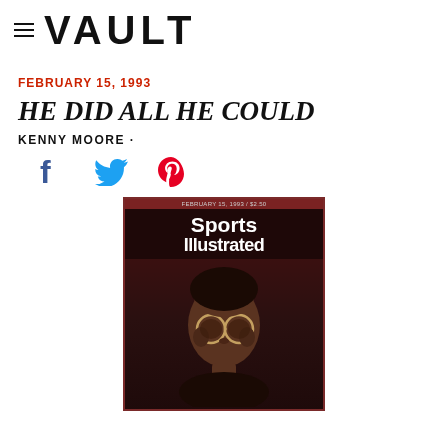VAULT
FEBRUARY 15, 1993
HE DID ALL HE COULD
KENNY MOORE ·
[Figure (photo): Sports Illustrated magazine cover from February 15, 1993, showing a man wearing large round glasses against a dark background, with the Sports Illustrated logo at the top.]